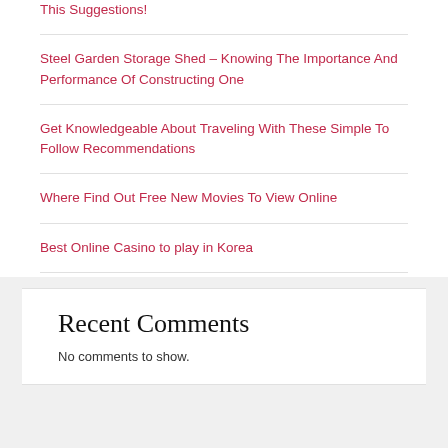This Suggestions!
Steel Garden Storage Shed – Knowing The Importance And Performance Of Constructing One
Get Knowledgeable About Traveling With These Simple To Follow Recommendations
Where Find Out Free New Movies To View Online
Best Online Casino to play in Korea
Recent Comments
No comments to show.